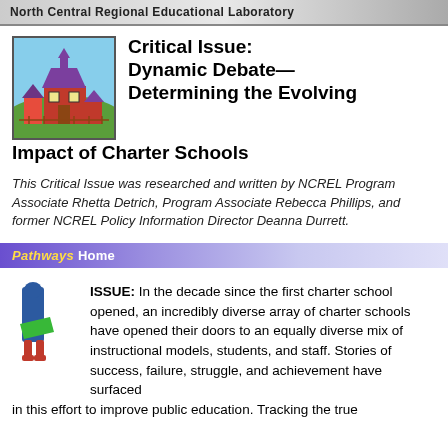North Central Regional Educational Laboratory
[Figure (illustration): Colorful illustration of a school building with purple roof on a green hill]
Critical Issue: Dynamic Debate—Determining the Evolving Impact of Charter Schools
This Critical Issue was researched and written by NCREL Program Associate Rhetta Detrich, Program Associate Rebecca Phillips, and former NCREL Policy Information Director Deanna Durrett.
Pathways Home
[Figure (illustration): Small illustration of a person carrying books]
ISSUE: In the decade since the first charter school opened, an incredibly diverse array of charter schools have opened their doors to an equally diverse mix of instructional models, students, and staff. Stories of success, failure, struggle, and achievement have surfaced in this effort to improve public education. Tracking the true